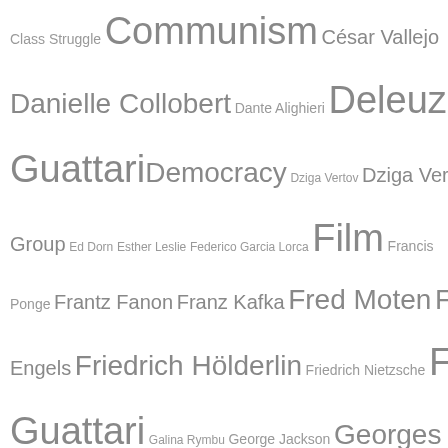[Figure (infographic): Tag cloud / word cloud of proper names and concepts related to critical theory, philosophy, and political topics. Terms vary in font size indicating relative frequency or importance. Includes: Class Struggle, Communism, César Vallejo, Danielle Collobert, Dante Alighieri, Deleuze & Guattari, Democracy, Dziga Vertov, Dziga Vertov Group, Ed Dorn, Esther Leslie, Federico Garcia Lorca, Film, Francis Ponge, Frantz Fanon, Franz Kafka, Fred Moten, Friedrich Engels, Friedrich Hölderlin, Friedrich Nietzsche, Félix Guattari, Galina Rymbu, George Jackson, Georges Didi-Huberman, Georg Friedrich Wilhelm Hegel, Gilets Jaunes, Gilles Deleuze, Giorgio Agamben, Guy Debord, Harun Farocki, Heiner Müller, Jacques Derrida, Jacques Rancière, Jean-Luc Godard, Jean-Marie Gleize]